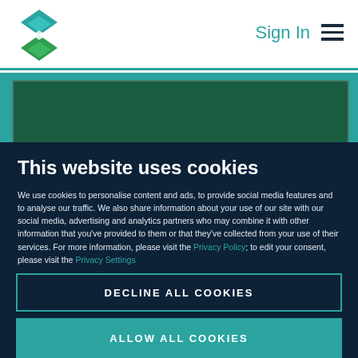[Figure (logo): Green and teal geometric diamond/shield logo mark]
Sign In
[Figure (illustration): Teal background banner with PODCAST label and partially visible book cover]
This website uses cookies
We use cookies to personalise content and ads, to provide social media features and to analyse our traffic. We also share information about your use of our site with our social media, advertising and analytics partners who may combine it with other information that you've provided to them or that they've collected from your use of their services. For more information, please visit the Privacy Policy; to edit your consent, please visit the Privacy Settings
DECLINE ALL COOKIES
ALLOW ALL COOKIES